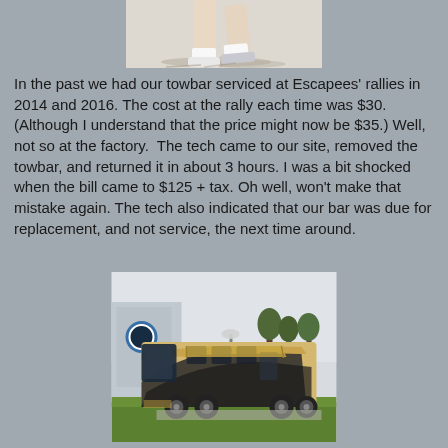[Figure (photo): Partial view of a person's legs and feet (white socks and sneakers) on pavement, cropped at top of page]
In the past we had our towbar serviced at Escapees' rallies in 2014 and 2016. The cost at the rally each time was $30. (Although I understand that the price might now be $35.) Well, not so at the factory.  The tech came to our site, removed the towbar, and returned it in about 3 hours. I was a bit shocked when the bill came to $125 + tax. Oh well, won't make that mistake again. The tech also indicated that our bar was due for replacement, and not service, the next time around.
[Figure (photo): A large luxury motorhome (Class A RV) parked at a factory or service facility, with trees and a building with a blue circular logo visible in the background. Green grass in foreground.]